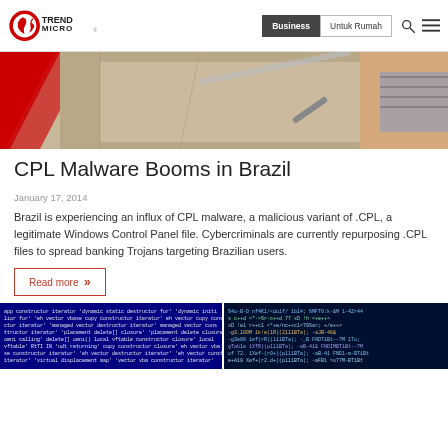Trend Micro | Business | Untuk Rumah
[Figure (photo): Hero image showing person handling cardboard boxes, with red graphic element on left side]
CPL Malware Booms in Brazil
January 17, 2014
Brazil is experiencing an influx of CPL malware, a malicious variant of .CPL, a legitimate Windows Control Panel file. Cybercriminals are currently repurposing .CPL files to spread banking Trojans targeting Brazilian users.
Read more »
[Figure (screenshot): Two screenshots of blue-screen code/terminal output at the bottom of the page]